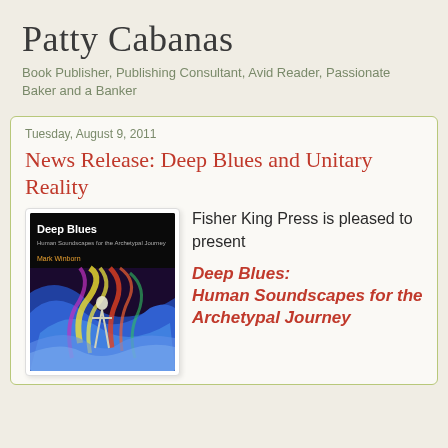Patty Cabanas
Book Publisher, Publishing Consultant, Avid Reader, Passionate Baker and a Banker
Tuesday, August 9, 2011
News Release: Deep Blues and Unitary Reality
[Figure (photo): Book cover of Deep Blues: Human Soundscapes for the Archetypal Journey by Mark Winborn, showing a silhouette of a person against colorful abstract background]
Fisher King Press is pleased to present
Deep Blues: Human Soundscapes for the Archetypal Journey